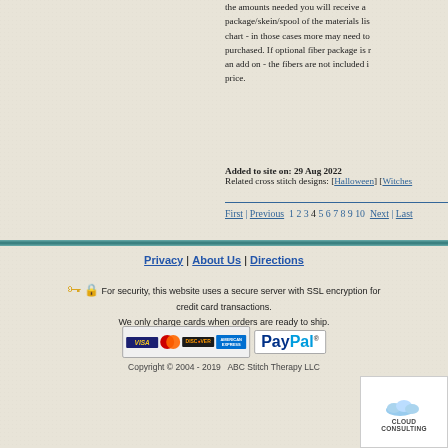the amounts needed you will receive a package/skein/spool of the materials listed in the chart - in those cases more may need to be purchased. If optional fiber package is requested as an add on - the fibers are not included in the kit price.
Added to site on: 29 Aug 2022
Related cross stitch designs: [Halloween] [Witches
First | Previous  1 2 3 4 5 6 7 8 9 10  Next | Last
Privacy | About Us | Directions
For security, this website uses a secure server with SSL encryption for credit card transactions.
We only charge cards when orders are ready to ship.
[Figure (logo): Payment logos: Visa, MasterCard, Discover, American Express, PayPal]
Copyright © 2004 - 2019   ABC Stitch Therapy LLC
[Figure (illustration): Cloud Consulting logo/badge in bottom right corner]